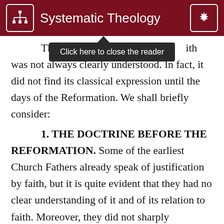Systematic Theology
The doctrine of justification by faith was not always clearly understood. In fact, it did not find its classical expression until the days of the Reformation. We shall briefly consider:
1. THE DOCTRINE BEFORE THE REFORMATION. Some of the earliest Church Fathers already speak of justification by faith, but it is quite evident that they had no clear understanding of it and of its relation to faith. Moreover, they did not sharply distinguish between regeneration and justification. A rather common representation was that regeneration takes place in baptism and includes the forgiveness of sins. Even